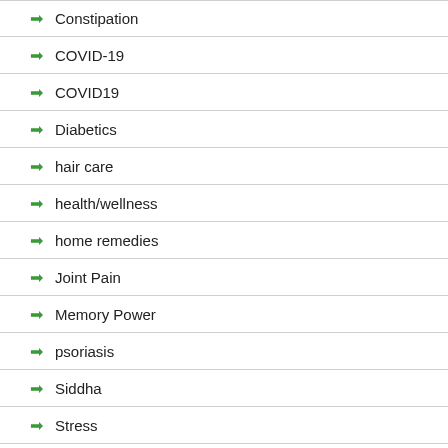Constipation
COVID-19
COVID19
Diabetics
hair care
health/wellness
home remedies
Joint Pain
Memory Power
psoriasis
Siddha
Stress